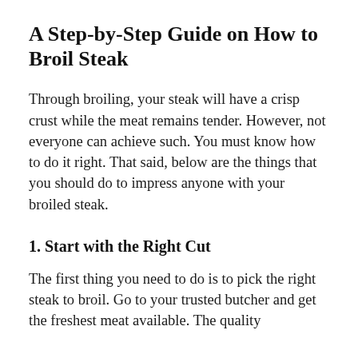A Step-by-Step Guide on How to Broil Steak
Through broiling, your steak will have a crisp crust while the meat remains tender. However, not everyone can achieve such. You must know how to do it right. That said, below are the things that you should do to impress anyone with your broiled steak.
1. Start with the Right Cut
The first thing you need to do is to pick the right steak to broil. Go to your trusted butcher and get the freshest meat available. The quality